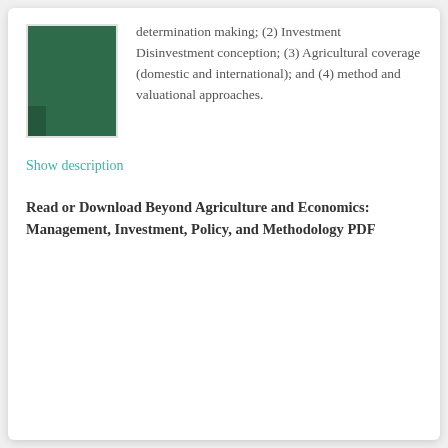[Figure (illustration): Book cover thumbnail — solid dark green rectangle representing a book cover]
determination making; (2) Investment Disinvestment conception; (3) Agricultural coverage (domestic and international); and (4) method and valuational approaches.
Show description
Read or Download Beyond Agriculture and Economics: Management, Investment, Policy, and Methodology PDF